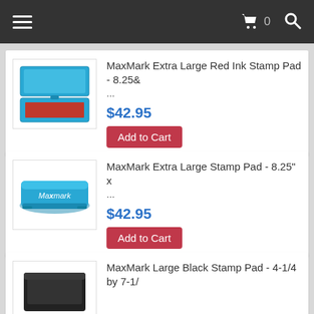Navigation bar with hamburger menu, cart (0), and search icons
[Figure (photo): MaxMark Extra Large Red Ink Stamp Pad with blue case open showing red ink pad]
MaxMark Extra Large Red Ink Stamp Pad - 8.25&
...
$42.95
Add to Cart
[Figure (photo): MaxMark Extra Large Stamp Pad - blue closed case with MaxMark logo]
MaxMark Extra Large Stamp Pad - 8.25" x
...
$42.95
Add to Cart
[Figure (photo): MaxMark Large Black Stamp Pad - partially visible]
MaxMark Large Black Stamp Pad - 4-1/4 by 7-1/